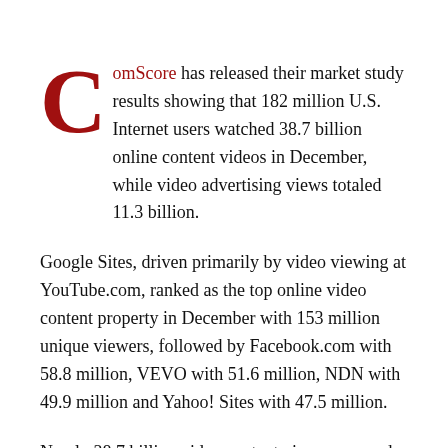ComScore has released their market study results showing that 182 million U.S. Internet users watched 38.7 billion online content videos in December, while video advertising views totaled 11.3 billion.
Google Sites, driven primarily by video viewing at YouTube.com, ranked as the top online video content property in December with 153 million unique viewers, followed by Facebook.com with 58.8 million, VEVO with 51.6 million, NDN with 49.9 million and Yahoo! Sites with 47.5 million.
Nearly 38.7 billion video content views occurred during the month, with Google Sites generating the highest number